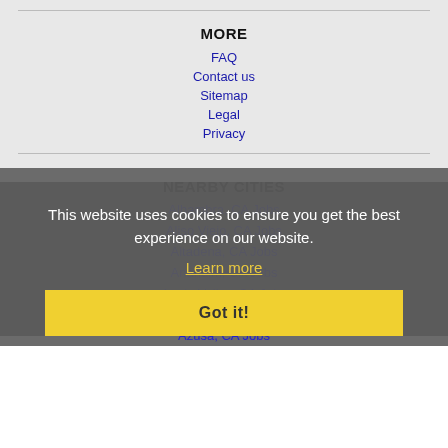MORE
FAQ
Contact us
Sitemap
Legal
Privacy
NEARBY CITIES
Alhambra, CA Jobs
Aliso Viejo, CA Jobs
Altadena, CA Jobs
Anaheim, CA Jobs
Apple Valley, CA Jobs
Arcadia, CA Jobs
Azusa, CA Jobs
This website uses cookies to ensure you get the best experience on our website.
Learn more
Got it!